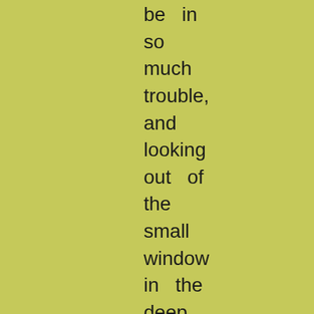be  in
so
much
trouble,
and
looking
out  of
the
small
window
in  the
deep
dark
wall,
at  the
summer
sky
and
the